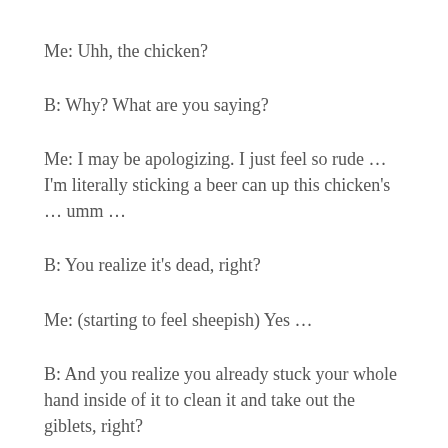Me: Uhh, the chicken?
B: Why? What are you saying?
Me: I may be apologizing. I just feel so rude … I'm literally sticking a beer can up this chicken's … umm …
B: You realize it's dead, right?
Me: (starting to feel sheepish) Yes …
B: And you realize you already stuck your whole hand inside of it to clean it and take out the giblets, right?
Me: I still have no idea where these giblets are! I think I